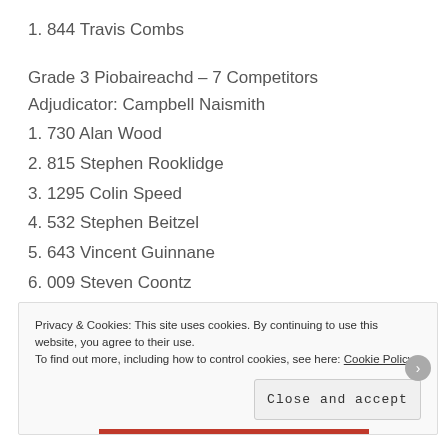1. 844 Travis Combs
Grade 3 Piobaireachd – 7 Competitors
Adjudicator: Campbell Naismith
1. 730 Alan Wood
2. 815 Stephen Rooklidge
3. 1295 Colin Speed
4. 532 Stephen Beitzel
5. 643 Vincent Guinnane
6. 009 Steven Coontz
Privacy & Cookies: This site uses cookies. By continuing to use this website, you agree to their use. To find out more, including how to control cookies, see here: Cookie Policy
Close and accept